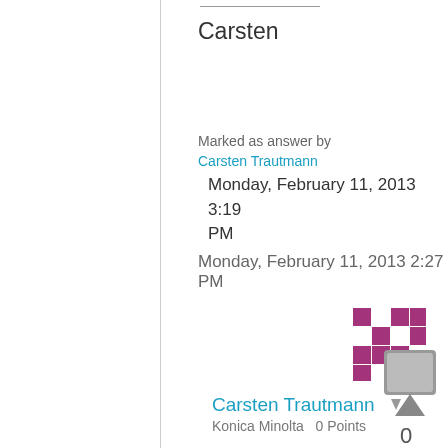Carsten
Marked as answer by
Carsten Trautmann
Monday, February 11, 2013 3:19 PM
Monday, February 11, 2013 2:27 PM
[Figure (screenshot): Purple mosaic/puzzle avatar icon for user Carsten Trautmann]
Carsten Trautmann
Konica Minolta   0 Points
[Figure (screenshot): Gray speech bubble / comment icon button]
[Figure (other): Gray upward-pointing triangle vote button]
0
Sign in to vote